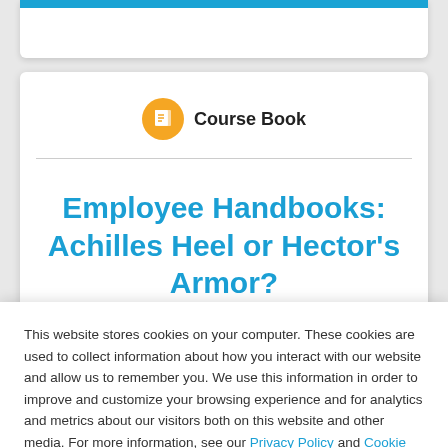[Figure (illustration): Top card with blue bar at top, partially visible]
Course Book
Employee Handbooks: Achilles Heel or Hector's Armor?
This website stores cookies on your computer. These cookies are used to collect information about how you interact with our website and allow us to remember you. We use this information in order to improve and customize your browsing experience and for analytics and metrics about our visitors both on this website and other media. For more information, see our Privacy Policy and Cookie Declaration Policy.
I understand